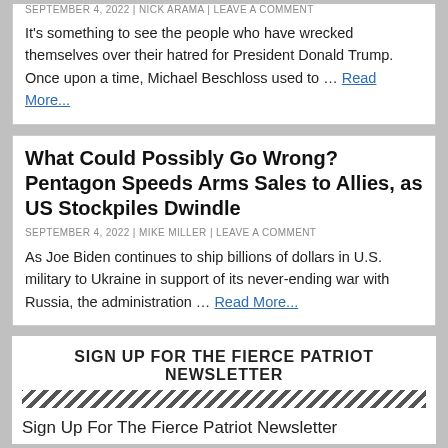Republicans Comment Against Trump
SEPTEMBER 4, 2022 | NICK ARAMA | LEAVE A COMMENT
It's something to see the people who have wrecked themselves over their hatred for President Donald Trump. Once upon a time, Michael Beschloss used to … Read More...
What Could Possibly Go Wrong? Pentagon Speeds Arms Sales to Allies, as US Stockpiles Dwindle
SEPTEMBER 4, 2022 | MIKE MILLER | LEAVE A COMMENT
As Joe Biden continues to ship billions of dollars in U.S. military to Ukraine in support of its never-ending war with Russia, the administration … Read More...
SIGN UP FOR THE FIERCE PATRIOT NEWSLETTER
Sign Up For The Fierce Patriot Newsletter